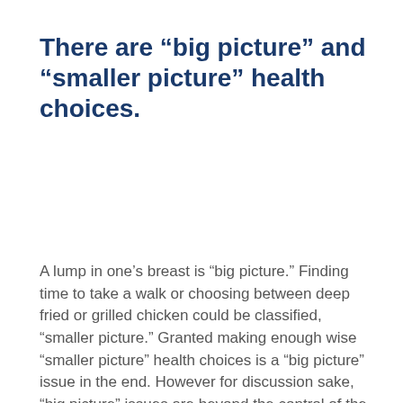There are “big picture” and “smaller picture” health choices.
A lump in one’s breast is “big picture.” Finding time to take a walk or choosing between deep fried or grilled chicken could be classified, “smaller picture.” Granted making enough wise “smaller picture” health choices is a “big picture” issue in the end. However for discussion sake, “big picture” issues are beyond the control of the every-person, requiring action without delay. “Smaller